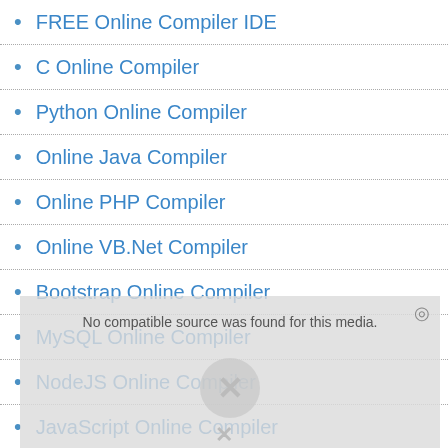FREE Online Compiler IDE
C Online Compiler
Python Online Compiler
Online Java Compiler
Online PHP Compiler
Online VB.Net Compiler
Bootstrap Online Compiler
MySQL Online Compiler
NodeJS Online Compiler
JavaScript Online Compiler